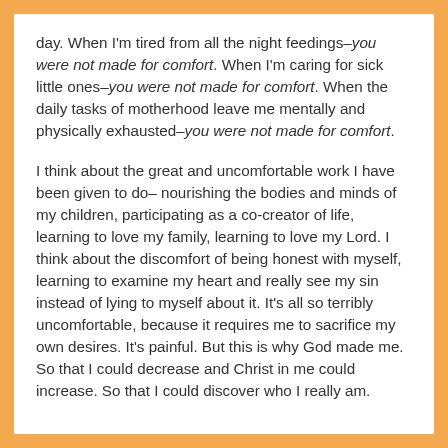day. When I'm tired from all the night feedings–you were not made for comfort. When I'm caring for sick little ones–you were not made for comfort. When the daily tasks of motherhood leave me mentally and physically exhausted–you were not made for comfort.
I think about the great and uncomfortable work I have been given to do– nourishing the bodies and minds of my children, participating as a co-creator of life, learning to love my family, learning to love my Lord. I think about the discomfort of being honest with myself, learning to examine my heart and really see my sin instead of lying to myself about it. It's all so terribly uncomfortable, because it requires me to sacrifice my own desires. It's painful. But this is why God made me. So that I could decrease and Christ in me could increase. So that I could discover who I really am.